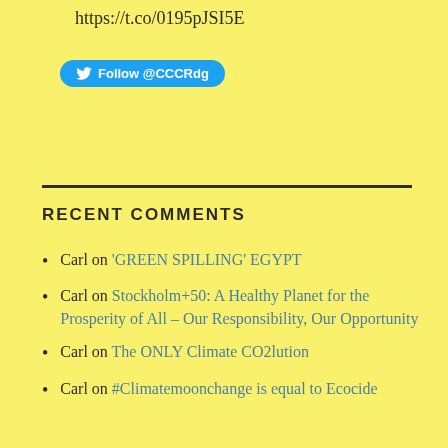https://t.co/0195pJSI5E
Follow @CCCRdg
RECENT COMMENTS
Carl on ‘GREEN SPILLING’ EGYPT
Carl on Stockholm+50: A Healthy Planet for the Prosperity of All – Our Responsibility, Our Opportunity
Carl on The ONLY Climate CO2lution
Carl on #Climatemoonchange is equal to Ecocide